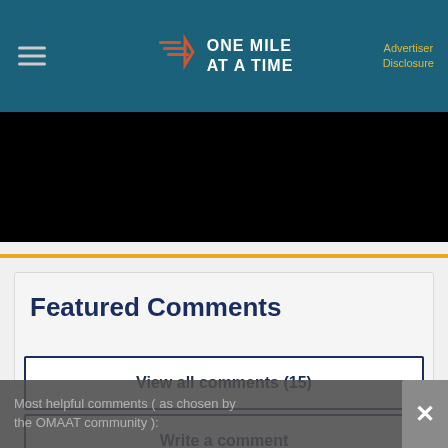ONE MILE AT A TIME — Advertiser Disclosure
[Figure (photo): Black rectangle representing a partially visible image or video area]
Featured Comments
View all comments (15)
Write a comment
Most helpful comments ( as chosen by the OMAAT community ):